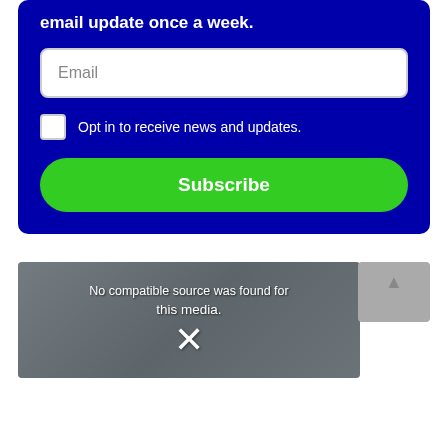email update once a week.
Email
Opt in to receive news and updates.
Subscribe
[Figure (screenshot): Video player showing error message: No compatible source was found for this media. with an X close button overlaid on a blurred educational content screenshot.]